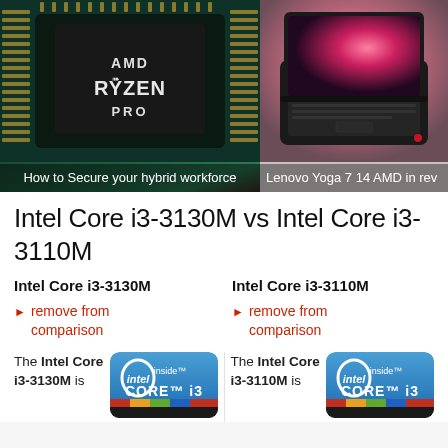[Figure (photo): AMD Ryzen PRO processor chip close-up photo with teal/green circuit board]
How to Secure your hybrid workforce
[Figure (photo): Lenovo Yoga 7 14 AMD laptop open showing pink/red wallpaper on screen]
Lenovo Yoga 7 14 AMD in rev
Intel Core i3-3130M vs Intel Core i3-3110M
Intel Core i3-3130M
Intel Core i3-3110M
remove from comparison
remove from comparison
[Figure (logo): Intel Core i3 inside badge/logo sticker]
The Intel Core i3-3130M is
[Figure (logo): Intel Core i3 inside badge/logo sticker]
The Intel Core i3-3110M is